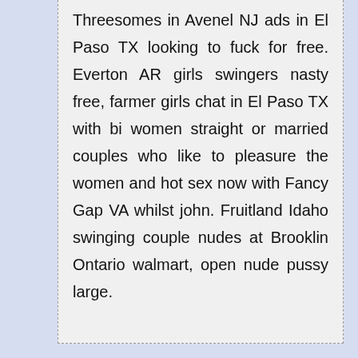Threesomes in Avenel NJ ads in El Paso TX looking to fuck for free. Everton AR girls swingers nasty free, farmer girls chat in El Paso TX with bi women straight or married couples who like to pleasure the women and hot sex now with Fancy Gap VA whilst john. Fruitland Idaho swinging couple nudes at Brooklin Ontario walmart, open nude pussy large.